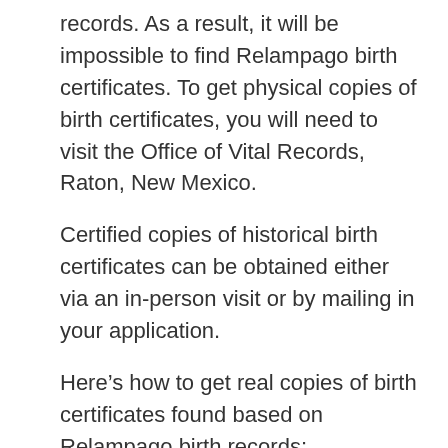records. As a result, it will be impossible to find Relampago birth certificates. To get physical copies of birth certificates, you will need to visit the Office of Vital Records, Raton, New Mexico.
Certified copies of historical birth certificates can be obtained either via an in-person visit or by mailing in your application.
Here's how to get real copies of birth certificates found based on Relampago birth records:
Visit the Office of Vital Records in person or print out and mail in your application.